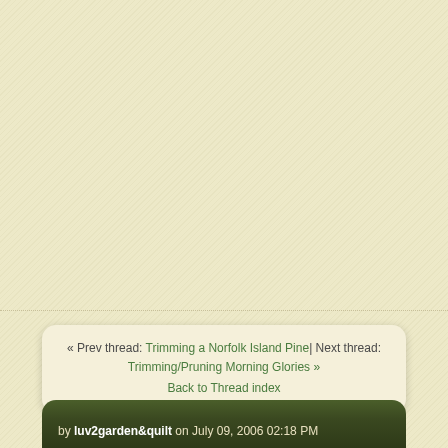« Prev thread: Trimming a Norfolk Island Pine| Next thread: Trimming/Pruning Morning Glories » Back to Thread index
by luv2garden&quilt on July 09, 2006 02:18 PM